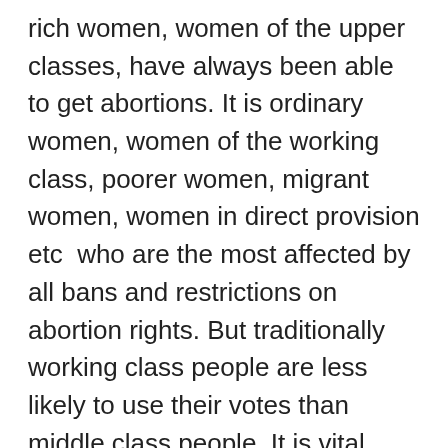rich women, women of the upper classes, have always been able to get abortions. It is ordinary women, women of the working class, poorer women, migrant women, women in direct provision etc  who are the most affected by all bans and restrictions on abortion rights. But traditionally working class people are less likely to use their votes than middle class people. It is vital therefore that the YES campaign fights energetically to get out the votes of working class women and men.
In this matter the support of leading Fine Gael and establishment politicians – the likes of